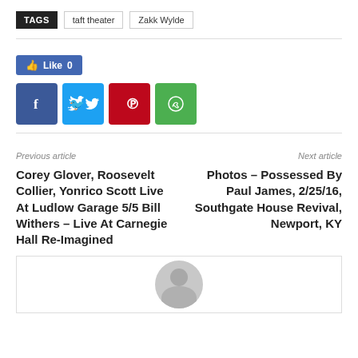TAGS  taft theater  Zakk Wylde
[Figure (infographic): Facebook Like button showing Like 0, and four social share buttons: Facebook (dark blue), Twitter (light blue), Pinterest (red), WhatsApp (green)]
Previous article
Next article
Corey Glover, Roosevelt Collier, Yonrico Scott Live At Ludlow Garage 5/5 Bill Withers – Live At Carnegie Hall Re-Imagined
Photos – Possessed By Paul James, 2/25/16, Southgate House Revival, Newport, KY
[Figure (photo): Avatar placeholder image with grey circle and head silhouette inside a bordered box]